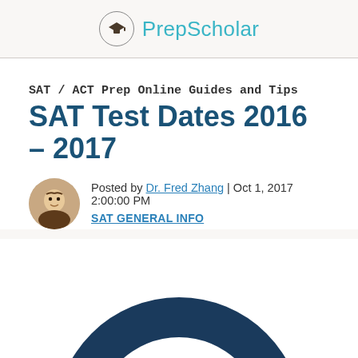PrepScholar
SAT / ACT Prep Online Guides and Tips
SAT Test Dates 2016 – 2017
Posted by Dr. Fred Zhang | Oct 1, 2017 2:00:00 PM
SAT GENERAL INFO
[Figure (illustration): Large dark navy circle/ring with the number 2017 displayed in bold navy text in the center, partially cropped at the bottom of the page.]